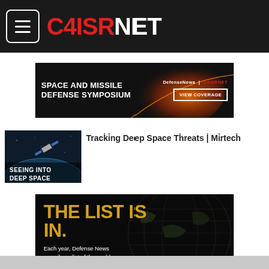C4ISRNET
[Figure (screenshot): Space and Missile Defense Symposium advertisement banner — DefenseNews | C4ISRNET — VIEW COVERAGE button]
[Figure (photo): Satellite in space with text overlay SEEING INTO DEEP SPACE]
Tracking Deep Space Threats | Mirtech
[Figure (screenshot): Advertisement: THE LIST IS IN. Each year, Defense News compiles a list of the worlds biggest defense companies. Dark background with gold globe imagery.]